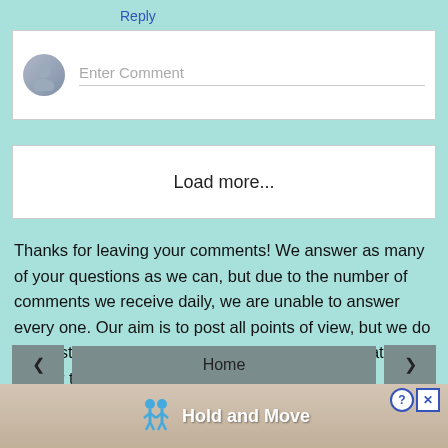Reply
[Figure (other): Comment input box with avatar icon and 'Enter Comment' placeholder text]
Load more...
Thanks for leaving your comments! We answer as many of your questions as we can, but due to the number of comments we receive daily, we are unable to answer every one. Our aim is to post all points of view, but we do not post anything that is profane, insulting, derogatory, or in poor taste.
[Figure (other): Navigation bar with left arrow, Home button, and right arrow buttons]
[Figure (other): Advertisement banner showing blue figure icons and text 'Hold and Move' with close button]